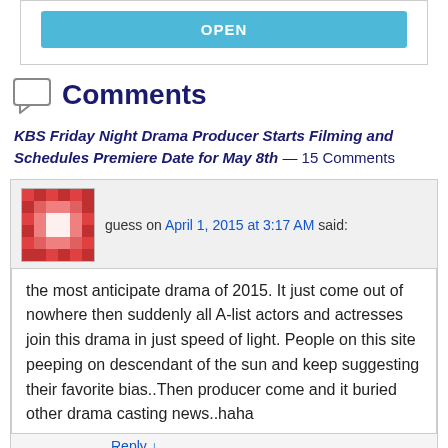[Figure (other): Blue OPEN button inside a bordered white box]
Comments
KBS Friday Night Drama Producer Starts Filming and Schedules Premiere Date for May 8th — 15 Comments
guess on April 1, 2015 at 3:17 AM said:
the most anticipate drama of 2015. It just come out of nowhere then suddenly all A-list actors and actresses join this drama in just speed of light. People on this site peeping on descendant of the sun and keep suggesting their favorite bias..Then producer come and it buried other drama casting news..haha
Reply ↓
Scarlet on April 1, 2015 at 3:58 AM said: